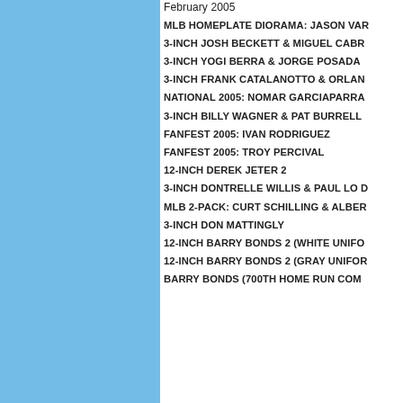February 2005
MLB HOMEPLATE DIORAMA: JASON VAR...
3-INCH JOSH BECKETT & MIGUEL CABR...
3-INCH YOGI BERRA & JORGE POSADA
3-INCH FRANK CATALANOTTO & ORLAN...
NATIONAL 2005: NOMAR GARCIAPARRA
3-INCH BILLY WAGNER & PAT BURRELL
FANFEST 2005: IVAN RODRIGUEZ
FANFEST 2005: TROY PERCIVAL
12-INCH DEREK JETER 2
3-INCH DONTRELLE WILLIS & PAUL LO D...
MLB 2-PACK: CURT SCHILLING & ALBER...
3-INCH DON MATTINGLY
12-INCH BARRY BONDS 2 (WHITE UNIFO...
12-INCH BARRY BONDS 2 (GRAY UNIFOR...
BARRY BONDS (700TH HOME RUN COM...